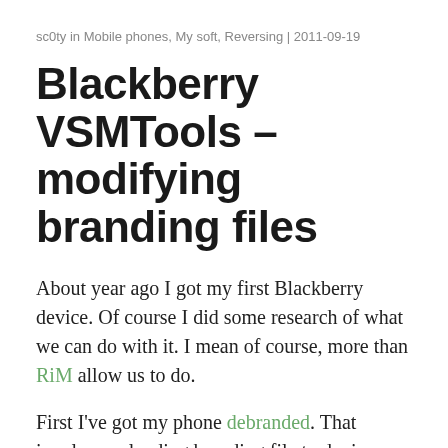sc0ty in Mobile phones, My soft, Reversing | 2011-09-19
Blackberry VSMTools – modifying branding files
About year ago I got my first Blackberry device. Of course I did some research of what we can do with it. I mean of course, more than RiM allow us to do.
First I've got my phone debranded. That involves uploading branding file to device. When I did that, I started to wonder if I could edit or create my own branding file with my own splashscreen image or other data changed. I found some VSM file format description (but incomplete). I did my own research (including software disassembling) and finally I created VSMTools. It's an easy-to-use command line tools